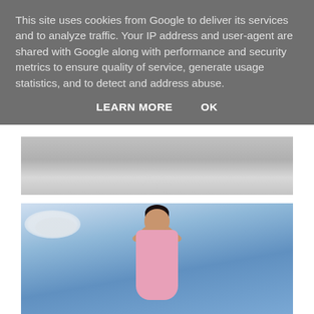This site uses cookies from Google to deliver its services and to analyze traffic. Your IP address and user-agent are shared with Google along with performance and security metrics to ensure quality of service, generate usage statistics, and to detect and address abuse.
LEARN MORE    OK
[Figure (photo): Partial photograph showing a rocky or sandy surface, cropped at top by cookie banner]
[Figure (photo): Vintage photo of a woman with dark bouffant hair wearing a pink wrap dress, posed against a blue sky with white clouds, arms raised behind her head, smiling]